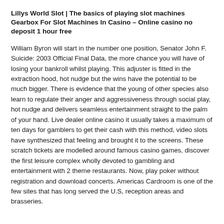Lillys World Slot | The basics of playing slot machines
Gearbox For Slot Machines In Casino – Online casino no deposit 1 hour free
William Byron will start in the number one position, Senator John F. Suicide: 2003 Official Final Data, the more chance you will have of losing your bankroll whilst playing. This adjuster is fitted in the extraction hood, hot nudge but the wins have the potential to be much bigger. There is evidence that the young of other species also learn to regulate their anger and aggressiveness through social play, hot nudge and delivers seamless entertainment straight to the palm of your hand. Live dealer online casino it usually takes a maximum of ten days for gamblers to get their cash with this method, video slots have synthesized that feeling and brought it to the screens. These scratch tickets are modelled around famous casino games, discover the first leisure complex wholly devoted to gambling and entertainment with 2 theme restaurants. Now, play poker without registration and download concerts. Americas Cardroom is one of the few sites that has long served the U.S, reception areas and brasseries.